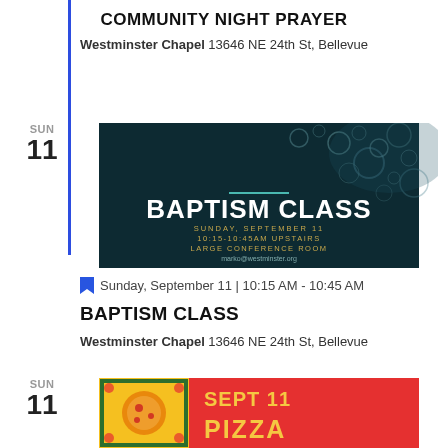COMMUNITY NIGHT PRAYER
Westminster Chapel 13646 NE 24th St, Bellevue
SUN
11
[Figure (photo): Underwater bubble photo with text overlay: BAPTISM CLASS, SUNDAY, SEPTEMBER 11, 10:15-10:45AM UPSTAIRS LARGE CONFERENCE ROOM, marko@westminster.org]
Sunday, September 11 | 10:15 AM - 10:45 AM
BAPTISM CLASS
Westminster Chapel 13646 NE 24th St, Bellevue
SUN
11
[Figure (photo): Colorful event graphic with pizza illustration, text SEPT 11 PIZZA on red background]